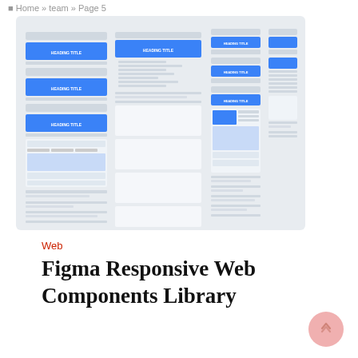Home » team » Page 5
[Figure (screenshot): Screenshot of a Figma responsive web components library showing multiple UI layout panels with blue header bars labeled 'HEADING TITLE' and various content sections arranged in a grid on a light grey background.]
Web
Figma Responsive Web Components Library